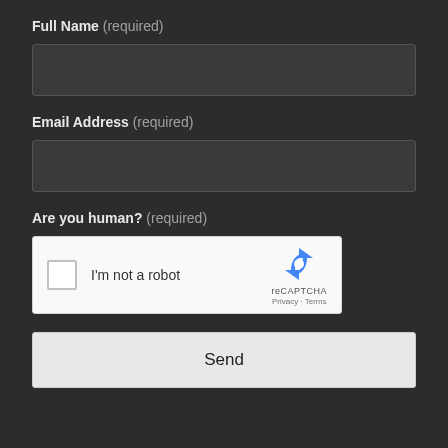Full Name (required)
[Figure (screenshot): Text input field for Full Name, dark background]
Email Address (required)
[Figure (screenshot): Text input field for Email Address, dark background]
Are you human? (required)
[Figure (screenshot): reCAPTCHA widget with checkbox labeled I'm not a robot, reCAPTCHA logo, Privacy and Terms links]
[Figure (screenshot): Send button, light gray background]